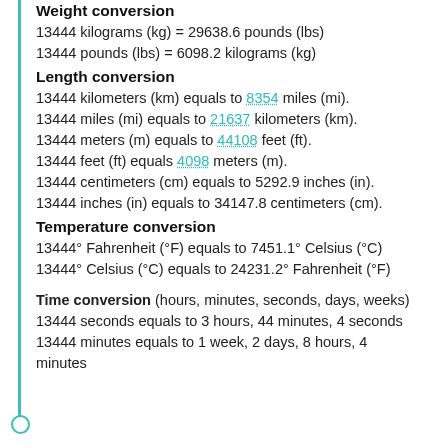Weight conversion
13444 kilograms (kg) = 29638.6 pounds (lbs)
13444 pounds (lbs) = 6098.2 kilograms (kg)
Length conversion
13444 kilometers (km) equals to 8354 miles (mi).
13444 miles (mi) equals to 21637 kilometers (km).
13444 meters (m) equals to 44108 feet (ft).
13444 feet (ft) equals 4098 meters (m).
13444 centimeters (cm) equals to 5292.9 inches (in).
13444 inches (in) equals to 34147.8 centimeters (cm).
Temperature conversion
13444° Fahrenheit (°F) equals to 7451.1° Celsius (°C)
13444° Celsius (°C) equals to 24231.2° Fahrenheit (°F)
Time conversion (hours, minutes, seconds, days, weeks)
13444 seconds equals to 3 hours, 44 minutes, 4 seconds
13444 minutes equals to 1 week, 2 days, 8 hours, 4 minutes